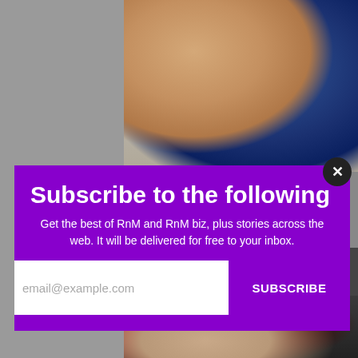[Figure (photo): Background collage: left gray panel, top-right shows people at formal event (man in tuxedo, woman), bottom-right shows close-up of person's face near red and black object. 'His' text visible in a dark box overlay.]
Subscribe to the following
Get the best of RnM and RnM biz, plus stories across the web. It will be delivered for free to your inbox.
email@example.com
SUBSCRIBE